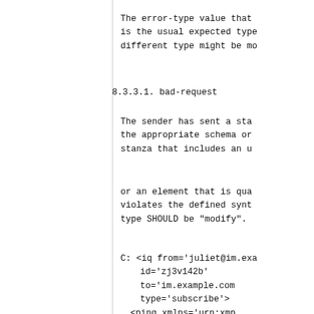The error-type value that is the usual expected type different type might be mo
8.3.3.1.  bad-request
The sender has sent a sta the appropriate schema or stanza that includes an u
or an element that is qua violates the defined synt type SHOULD be "modify".
C: <iq from='juliet@im.ex id='zj3v142b' to='im.example.com type='subscribe'> <ping xmlns='urn:xmp